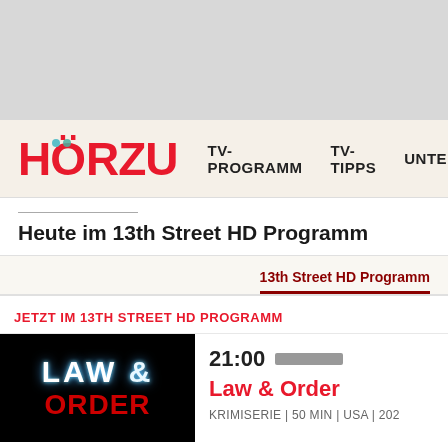[Figure (screenshot): Gray top bar background area]
HÖRZU  TV-PROGRAMM  TV-TIPPS  UNTER
Heute im 13th Street HD Programm
13th Street HD Programm
JETZT IM 13TH STREET HD PROGRAMM
[Figure (photo): Law & Order show logo on black background with blue and red glowing text]
21:00
Law & Order
KRIMISERIE | 50 MIN | USA | 202